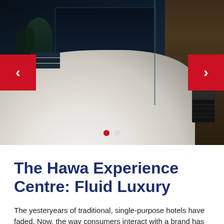[Figure (photo): Hotel room interior showing a dark room with monitor/screen, plant, wooden wall on right side, white bed in foreground, with red navigation arrows on left and right and two dots indicator at bottom]
The Hawa Experience Centre: Fluid Luxury
The yesteryears of traditional, single-purpose hotels have faded. Now, the way consumers interact with a brand has caused a shift in function. Multi-functional,